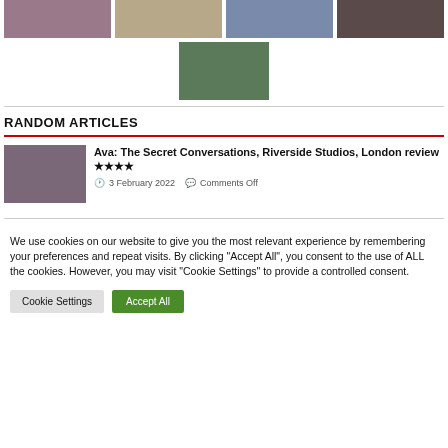[Figure (photo): Row of four portrait/thumbnail images at top of page]
[Figure (photo): Single centered thumbnail image showing colorful stage or garden scene]
RANDOM ARTICLES
[Figure (photo): Theater production thumbnail showing two performers]
Ava: The Secret Conversations, Riverside Studios, London review ★★★★
3 February 2022   Comments Off
We use cookies on our website to give you the most relevant experience by remembering your preferences and repeat visits. By clicking "Accept All", you consent to the use of ALL the cookies. However, you may visit "Cookie Settings" to provide a controlled consent.
Cookie Settings   Accept All